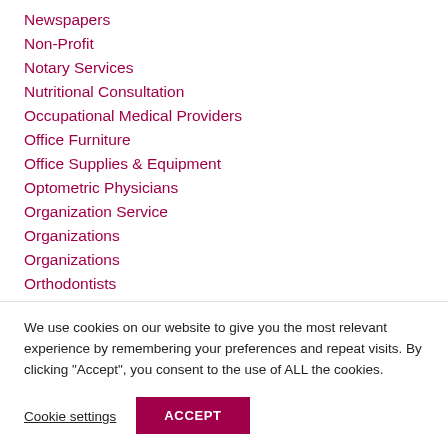Newspapers
Non-Profit
Notary Services
Nutritional Consultation
Occupational Medical Providers
Office Furniture
Office Supplies & Equipment
Optometric Physicians
Organization Service
Organizations
Organizations
Orthodontists
We use cookies on our website to give you the most relevant experience by remembering your preferences and repeat visits. By clicking "Accept", you consent to the use of ALL the cookies.
Cookie settings
ACCEPT